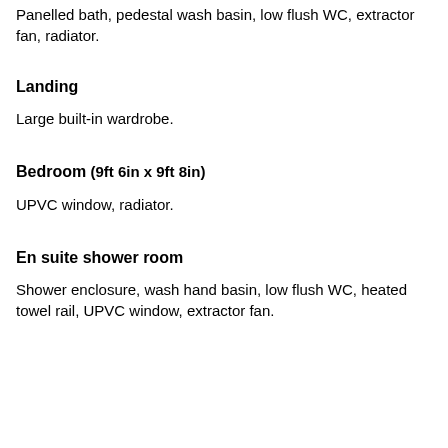Panelled bath, pedestal wash basin, low flush WC, extractor fan, radiator.
Landing
Large built-in wardrobe.
Bedroom
(9ft 6in x 9ft 8in)
UPVC window, radiator.
En suite shower room
Shower enclosure, wash hand basin, low flush WC, heated towel rail, UPVC window, extractor fan.